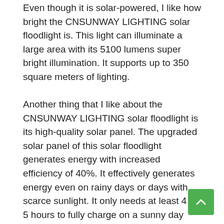Even though it is solar-powered, I like how bright the CNSUNWAY LIGHTING solar floodlight is. This light can illuminate a large area with its 5100 lumens super bright illumination. It supports up to 350 square meters of lighting.
Another thing that I like about the CNSUNWAY LIGHTING solar floodlight is its high-quality solar panel. The upgraded solar panel of this solar floodlight generates energy with increased efficiency of 40%. It effectively generates energy even on rainy days or days with scarce sunlight. It only needs at least 4 to 5 hours to fully charge on a sunny day and about 10 hours on a cloudy day.
This light is also convenient and easily installed. Everything is that you need in the installation is included in the package along with an instruction manual.